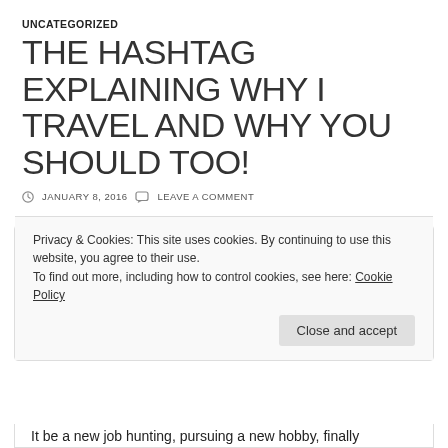UNCATEGORIZED
THE HASHTAG EXPLAINING WHY I TRAVEL AND WHY YOU SHOULD TOO!
JANUARY 8, 2016   LEAVE A COMMENT
Travel Destinations By 7:AM
I'm excited for 2016! I'm sure all of us are. I mean, who wouldn't? It's a brand New Year, it's 2016! It's a
Privacy & Cookies: This site uses cookies. By continuing to use this website, you agree to their use.
To find out more, including how to control cookies, see here: Cookie Policy
Close and accept
It be a new job hunting, pursuing a new hobby, finally